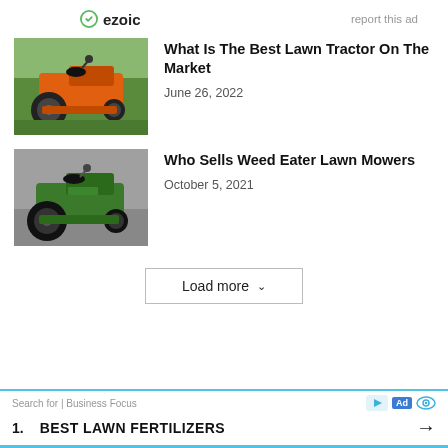[Figure (other): Ezoic logo and 'report this ad' text bar]
[Figure (photo): Orange and black Husqvarna lawn tractor on green grass]
What Is The Best Lawn Tractor On The Market
June 26, 2022
[Figure (photo): Green Weed Eater lawn tractor on pavement]
Who Sells Weed Eater Lawn Mowers
October 5, 2021
Load more
Search for | Business Focus
1.  BEST LAWN FERTILIZERS